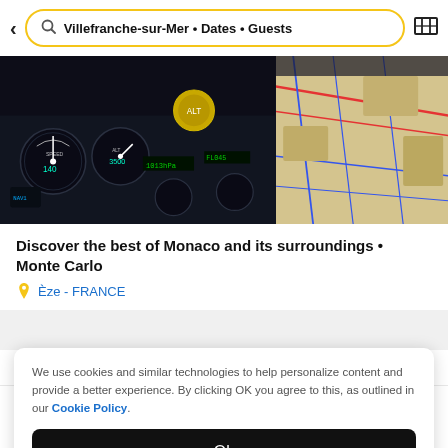Villefranche-sur-Mer • Dates • Guests
[Figure (photo): Cockpit/instrument panel photo on left side and aerial map view on the right side, dark background]
Discover the best of Monaco and its surroundings • Monte Carlo
Èze - FRANCE
We use cookies and similar technologies to help personalize content and provide a better experience. By clicking OK you agree to this, as outlined in our Cookie Policy.
Ok
Home   Favorites   Log in